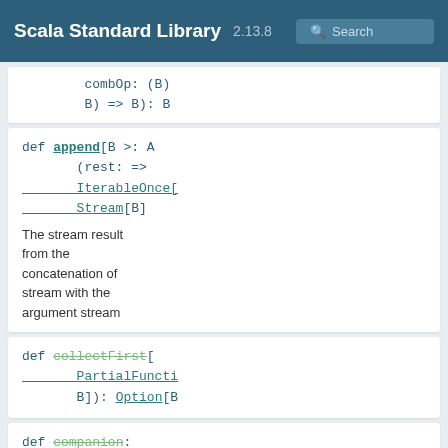Scala Standard Library 2.13.8 Search
combOp: (B) => B): B
def append[B >: A (rest: => IterableOnce[ Stream[B]
The stream result from the concatenation of stream with the argument stream
def collectFirst[ PartialFuncti B]): Option[B
def companion: IterableFacto
def copyToBuffer (dest: Buffer[A]): Unit